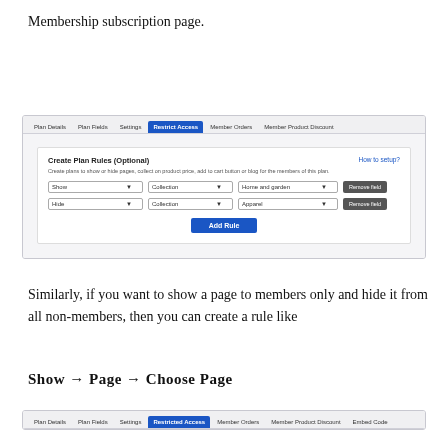Membership subscription page.
[Figure (screenshot): Screenshot of a membership plan admin interface showing the 'Restrict Access' tab active, with a 'Create Plan Rules (Optional)' panel. Two rules are configured: Show > Collection > Home and garden (with Remove field button), and Hide > Collection > Apparel (with Remove field button). An 'Add Rule' blue button is at the bottom.]
Similarly, if you want to show a page to members only and hide it from all non-members, then you can create a rule like
Show → Page → Choose Page
[Figure (screenshot): Bottom partial screenshot showing another view of the membership plan interface with the 'Restricted Access' tab active, tabs visible: Plan Details, Plan Fields, Settings, Restricted Access, Member Orders, Member Product Discount, Embed Code.]